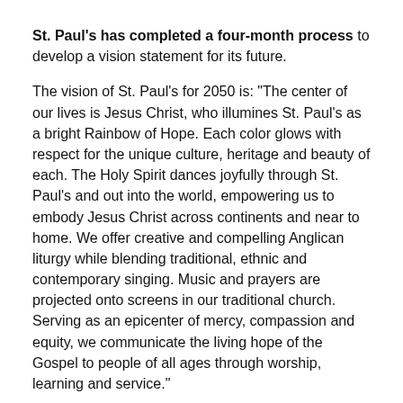St. Paul's has completed a four-month process to develop a vision statement for its future.
The vision of St. Paul's for 2050 is: "The center of our lives is Jesus Christ, who illumines St. Paul's as a bright Rainbow of Hope. Each color glows with respect for the unique culture, heritage and beauty of each. The Holy Spirit dances joyfully through St. Paul's and out into the world, empowering us to embody Jesus Christ across continents and near to home. We offer creative and compelling Anglican liturgy while blending traditional, ethnic and contemporary singing. Music and prayers are projected onto screens in our traditional church. Serving as an epicenter of mercy, compassion and equity, we communicate the living hope of the Gospel to people of all ages through worship, learning and service."
Already the statement guides parishioners' actions.
They collect clothing for their own members as well as for children at local schools.
When a beloved Mexican immigrant died recently, the parish raised money to pay for funeral expenses and to